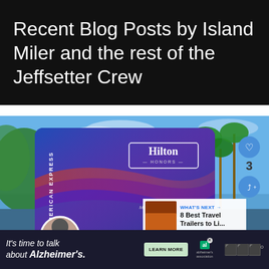Recent Blog Posts by Island Miler and the rest of the Jeffsetter Crew
[Figure (screenshot): Hilton Honors American Express credit card shown in front of a tropical resort poolside background with palm trees and blue sky. Social interaction buttons (heart, share) visible on right side. Profile picture at bottom left. 'What's Next' panel showing '8 Best Travel Trailers to Li...' at bottom right.]
[Figure (infographic): Advertisement banner: 'It's time to talk about Alzheimer's.' with a Learn More button, Alzheimer's Association logo, and weather app icon on dark background.]